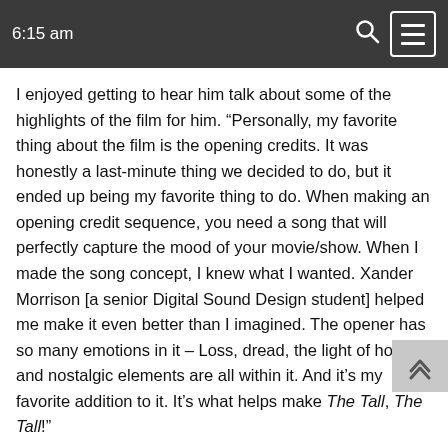6:15 am
I enjoyed getting to hear him talk about some of the highlights of the film for him. “Personally, my favorite thing about the film is the opening credits. It was honestly a last-minute thing we decided to do, but it ended up being my favorite thing to do. When making an opening credit sequence, you need a song that will perfectly capture the mood of your movie/show. When I made the song concept, I knew what I wanted. Xander Morrison [a senior Digital Sound Design student] helped me make it even better than I imagined. The opener has so many emotions in it – Loss, dread, the light of hope, and nostalgic elements are all within it. And it’s my favorite addition to it. It’s what helps make The Tall, The Tall!”
Finally, I asked what his future hopes were for this project. He stated, “I hope that this Pilot Concept will